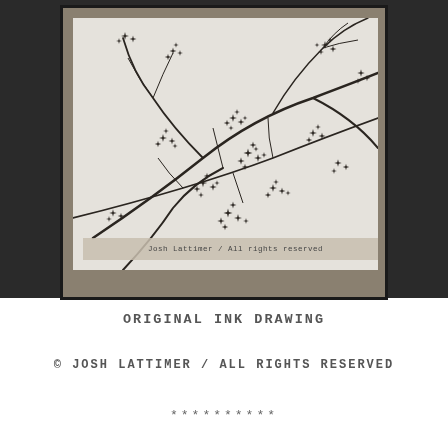[Figure (photo): A framed black and white ink drawing of tree branches with small star-shaped leaves, displayed in a wooden frame. A watermark reads 'Josh Lattimer / All rights reserved' at the bottom of the image.]
ORIGINAL INK DRAWING
© JOSH LATTIMER / ALL RIGHTS RESERVED
**********